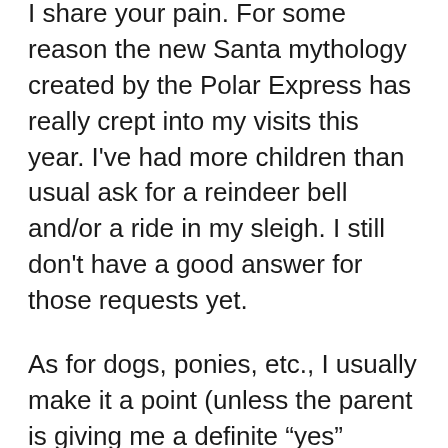I share your pain. For some reason the new Santa mythology created by the Polar Express has really crept into my visits this year. I've had more children than usual ask for a reindeer bell and/or a ride in my sleigh. I still don't have a good answer for those requests yet.
As for dogs, ponies, etc., I usually make it a point (unless the parent is giving me a definite “yes” signal) that Santa’s elves don’t make ponies/puppies, etc., but I’m sure they would love to make something special for her and I’ll leave it under the tree.
It was an odd year for requests as most children have swamped me with requests for electronics/video game systems, and